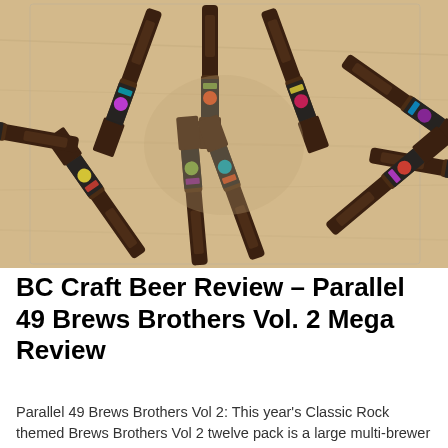[Figure (photo): Ten dark brown beer bottles arranged in a circular/star pattern with their bottoms pointing inward and necks pointing outward, placed on a light wooden table. Each bottle has a colorful printed label with decorative artwork.]
BC Craft Beer Review – Parallel 49 Brews Brothers Vol. 2 Mega Review
Parallel 49 Brews Brothers Vol 2: This year's Classic Rock themed Brews Brothers Vol 2 twelve pack is a large multi-brewer BC pack of